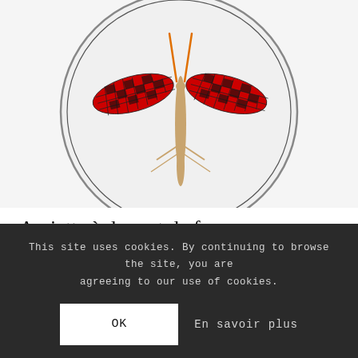[Figure (photo): Ceramic dessert plate with an illustrated grasshopper/insect motif featuring red, black, white checkered wings and orange body, shown on a white plate with dark rim border, partially visible circle crop]
Assiette à dessert de forme coupe | Histoire Naturelle 5
92,50 €
This site uses cookies. By continuing to browse the site, you are agreeing to our use of cookies.
OK
En savoir plus